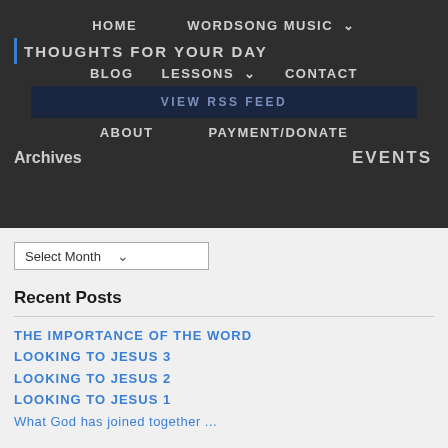HOME   WORDSONG MUSIC ▾
THOUGHTS FOR YOUR DAY
BLOG   LESSONS ▾   CONTACT
VIEW RSS FEED
ABOUT   PAYMENT/DONATE
Archives   EVENTS
Select Month
Recent Posts
THE IMPORTANCE OF THE WORD
LOOKING TO JESUS 3
LOOKING TO JESUS 2
LOOKING TO JESUS 1
What God has joined together ...